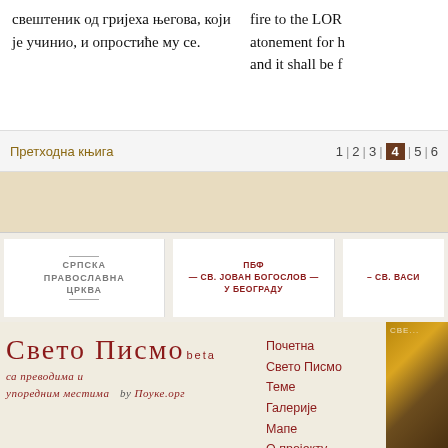свештеник од гријеха његова, који је учинио, и опростиће му се.
fire to the LORD atonement for h and it shall be f
Претходна књига | 1 | 2 | 3 | 4 | 5 | 6
СРПСКА ПРАВОСЛАВНА ЦРКВА
ПБФ СВ. ЈОВАН БОГОСЛОВ У БЕОГРАДУ
СВ. ВАСИ...
Свето Писмо beta
са преводима и упоредним местима by Поуке.орг
Почетна
Свето Писмо
Теме
Галерије
Мапе
О пројекту
Поуке.орг